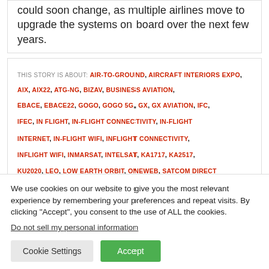could soon change, as multiple airlines move to upgrade the systems on board over the next few years.
THIS STORY IS ABOUT: AIR-TO-GROUND, AIRCRAFT INTERIORS EXPO, AIX, AIX22, ATG-NG, BIZAV, BUSINESS AVIATION, EBACE, EBACE22, GOGO, GOGO 5G, GX, GX AVIATION, IFC, IFEC, IN FLIGHT, IN-FLIGHT CONNECTIVITY, IN-FLIGHT INTERNET, IN-FLIGHT WIFI, INFLIGHT CONNECTIVITY, INFLIGHT WIFI, INMARSAT, INTELSAT, KA1717, KA2517, KU2020, LEO, LOW EARTH ORBIT, ONEWEB, SATCOM DIRECT
We use cookies on our website to give you the most relevant experience by remembering your preferences and repeat visits. By clicking "Accept", you consent to the use of ALL the cookies.
Do not sell my personal information
Cookie Settings
Accept